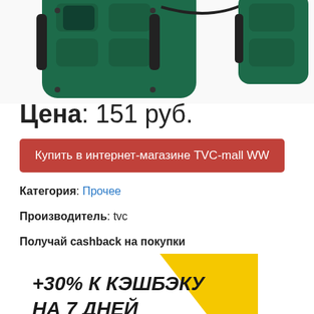[Figure (photo): Product photo of a dark green rugged phone case with protective bumpers, shown from the back.]
Цена: 151 руб.
Купить в интернет-магазине TVC-mall WW
Категория: Прочее
Производитель: tvc
Получай cashback на покупки
[Figure (infographic): Letyshops cashback promotional banner showing +30% К КЭШБЭКУ НА 7 ДНЕЙ letyshops, with a woman smiling and yellow geometric background.]